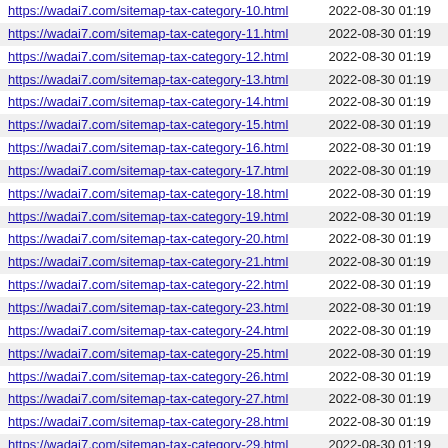| URL | Date |
| --- | --- |
| https://wadai7.com/sitemap-tax-category-10.html | 2022-08-30 01:19 |
| https://wadai7.com/sitemap-tax-category-11.html | 2022-08-30 01:19 |
| https://wadai7.com/sitemap-tax-category-12.html | 2022-08-30 01:19 |
| https://wadai7.com/sitemap-tax-category-13.html | 2022-08-30 01:19 |
| https://wadai7.com/sitemap-tax-category-14.html | 2022-08-30 01:19 |
| https://wadai7.com/sitemap-tax-category-15.html | 2022-08-30 01:19 |
| https://wadai7.com/sitemap-tax-category-16.html | 2022-08-30 01:19 |
| https://wadai7.com/sitemap-tax-category-17.html | 2022-08-30 01:19 |
| https://wadai7.com/sitemap-tax-category-18.html | 2022-08-30 01:19 |
| https://wadai7.com/sitemap-tax-category-19.html | 2022-08-30 01:19 |
| https://wadai7.com/sitemap-tax-category-20.html | 2022-08-30 01:19 |
| https://wadai7.com/sitemap-tax-category-21.html | 2022-08-30 01:19 |
| https://wadai7.com/sitemap-tax-category-22.html | 2022-08-30 01:19 |
| https://wadai7.com/sitemap-tax-category-23.html | 2022-08-30 01:19 |
| https://wadai7.com/sitemap-tax-category-24.html | 2022-08-30 01:19 |
| https://wadai7.com/sitemap-tax-category-25.html | 2022-08-30 01:19 |
| https://wadai7.com/sitemap-tax-category-26.html | 2022-08-30 01:19 |
| https://wadai7.com/sitemap-tax-category-27.html | 2022-08-30 01:19 |
| https://wadai7.com/sitemap-tax-category-28.html | 2022-08-30 01:19 |
| https://wadai7.com/sitemap-tax-category-29.html | 2022-08-30 01:19 |
| https://wadai7.com/sitemap-tax-category-30.html | 2022-08-30 01:19 |
| https://wadai7.com/sitemap-tax-category-31.html | 2022-08-30 01:19 |
| https://wadai7.com/sitemap-tax-category-32.html | 2022-08-30 01:19 |
| https://wadai7.com/sitemap-tax-category-33.html | 2022-08-30 01:19 |
| https://wadai7.com/sitemap-tax-category-34.html | 2022-08-30 01:19 |
| https://wadai7.com/sitemap-tax-category-35.html | 2022-08-30 01:19 |
| https://wadai7.com/sitemap-tax-category-36.html | 2022-08-30 01:19 |
| https://wadai7.com/sitemap-tax-category-37.html | 2022-08-30 01:19 |